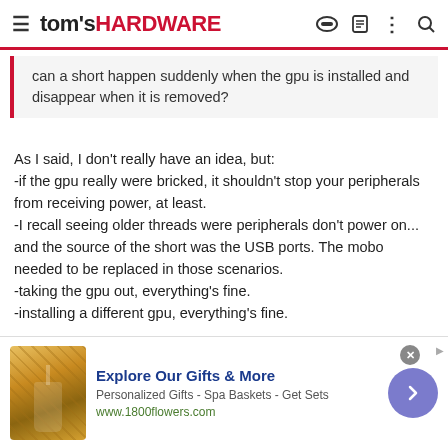tom's HARDWARE
can a short happen suddenly when the gpu is installed and disappear when it is removed?
As I said, I don't really have an idea, but:
-if the gpu really were bricked, it shouldn't stop your peripherals from receiving power, at least.
-I recall seeing older threads were peripherals don't power on... and the source of the short was the USB ports. The mobo needed to be replaced in those scenarios.
-taking the gpu out, everything's fine.
-installing a different gpu, everything's fine.

Your 3090's the source of the short. I wish I knew more.
[Figure (other): Vote buttons: upvote arrow, number 2, downvote arrow]
[Figure (other): Advertisement banner for 1800flowers.com - Explore Our Gifts & More, Personalized Gifts - Spa Baskets - Get Sets]